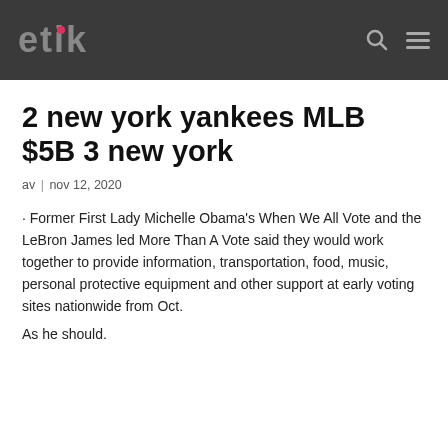etik
2 new york yankees MLB $5B 3 new york
av | nov 12, 2020
· Former First Lady Michelle Obama's When We All Vote and the LeBron James led More Than A Vote said they would work together to provide information, transportation, food, music, personal protective equipment and other support at early voting sites nationwide from Oct.
As he should.